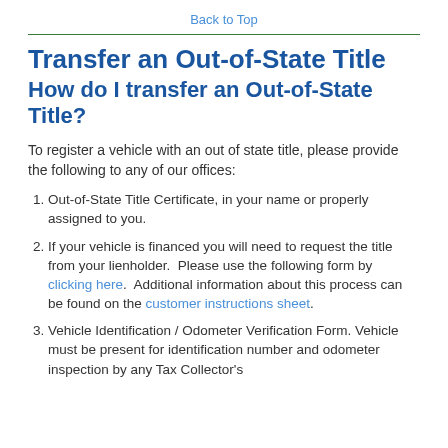Back to Top
Transfer an Out-of-State Title
How do I transfer an Out-of-State Title?
To register a vehicle with an out of state title, please provide the following to any of our offices:
Out-of-State Title Certificate, in your name or properly assigned to you.
If your vehicle is financed you will need to request the title from your lienholder.  Please use the following form by clicking here.  Additional information about this process can be found on the customer instructions sheet.
Vehicle Identification / Odometer Verification Form. Vehicle must be present for identification number and odometer inspection by any Tax Collector's